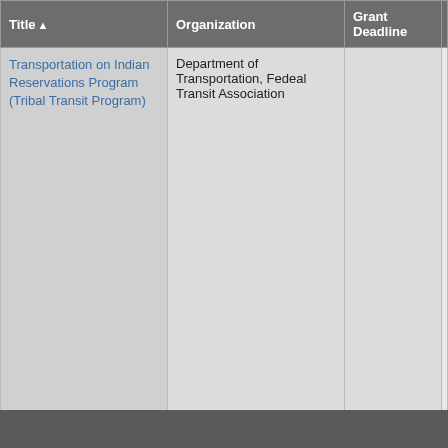| Title ▲ | Organization | Grant Deadline | Description |
| --- | --- | --- | --- |
| Transportation on Indian Reservations Program (Tribal Transit Program) | Department of Transportation, Fedeal Transit Association |  | Law 114-94 (December 4, a national solicitation for pr proposals and includes the criteria and program eligibi for Fiscal Year 2018 projec purpose of these competiti grants is to support plannin in limited circumstances, o assistance for tribal public services. Funds distributed tribes under the TTP shou or reduce funds that Indian from states through FTA's S program. |
« first ‹ previous … 12 13 14